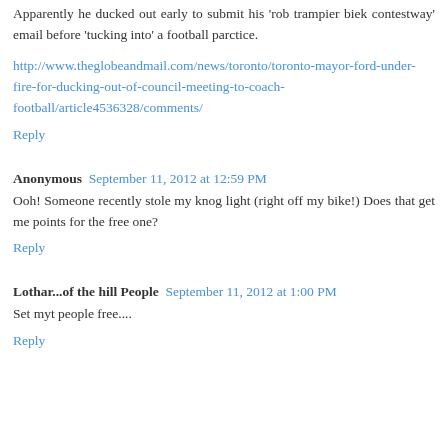Apparently he ducked out early to submit his 'rob trampier biek contestway' email before 'tucking into' a football parctice.
http://www.theglobeandmail.com/news/toronto/toronto-mayor-ford-under-fire-for-ducking-out-of-council-meeting-to-coach-football/article4536328/comments/
Reply
Anonymous  September 11, 2012 at 12:59 PM
Ooh! Someone recently stole my knog light (right off my bike!) Does that get me points for the free one?
Reply
Lothar...of the hill People  September 11, 2012 at 1:00 PM
Set myt people free....
Reply